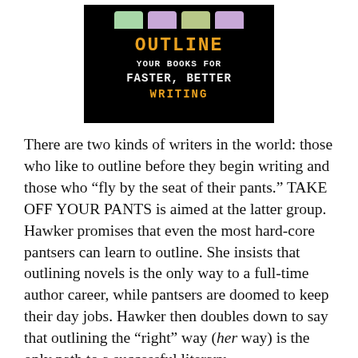[Figure (illustration): Book cover with black background showing tabs in pastel colors at top, title 'OUTLINE' in orange, subtitle 'YOUR BOOKS FOR FASTER, BETTER WRITING' in white/orange monospace font]
There are two kinds of writers in the world: those who like to outline before they begin writing and those who “fly by the seat of their pants.” TAKE OFF YOUR PANTS is aimed at the latter group. Hawker promises that even the most hard-core pantsers can learn to outline. She insists that outlining novels is the only way to a full-time author career, while pantsers are doomed to keep their day jobs. Hawker then doubles down to say that outlining the “right” way (her way) is the only path to a successful literary